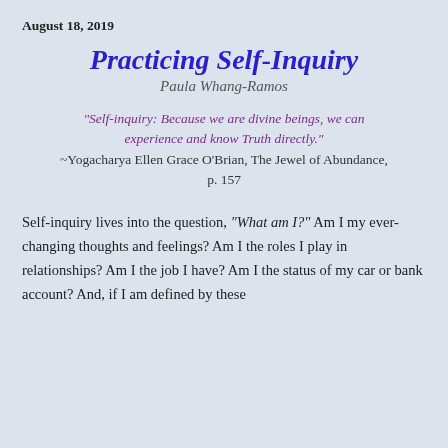August 18, 2019
Practicing Self-Inquiry
Paula Whang-Ramos
"Self-inquiry: Because we are divine beings, we can experience and know Truth directly." ~Yogacharya Ellen Grace O'Brian, The Jewel of Abundance, p. 157
Self-inquiry lives into the question, “What am I?” Am I my ever-changing thoughts and feelings? Am I the roles I play in relationships? Am I the job I have? Am I the status of my car or bank account? And, if I am defined by these